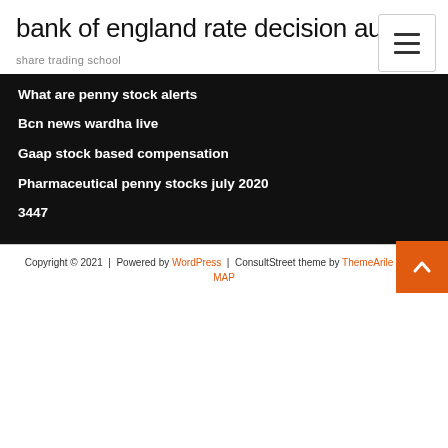bank of england rate decision august
share trading school
What are penny stock alerts
Bcn news wardha live
Gaap stock based compensation
Pharmaceutical penny stocks july 2020
3447
Copyright © 2021  |  Powered by WordPress  |  ConsultStreet theme by ThemeArile HTML MAP